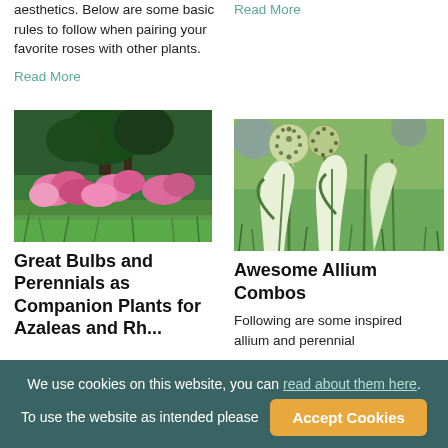aesthetics. Below are some basic rules to follow when pairing your favorite roses with other plants.
Read More
Read More
[Figure (photo): Garden with pink and red azalea flowers among green plants and trees]
[Figure (photo): White calla lilies and allium globe flowers with green grassy background]
Great Bulbs and Perennials as Companion Plants for Azaleas and Rhododendrons
Awesome Allium Combos
Following are some inspired allium and perennial
We use cookies on this website, you can read about them here. To use the website as intended please
Accept Cookies